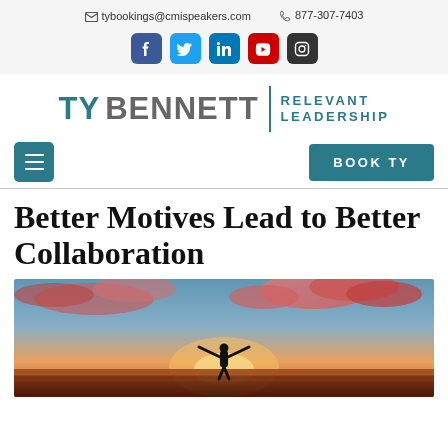tybookings@cmispeakers.com  877-307-7403
[Figure (logo): Social media icons: Facebook, Twitter, LinkedIn, YouTube, Instagram]
[Figure (logo): TY BENNETT | RELEVANT LEADERSHIP logo]
[Figure (infographic): Navigation bar with hamburger menu icon and BOOK TY button]
Better Motives Lead to Better Collaboration
[Figure (photo): Person standing with arms outstretched at sunset with dramatic clouds, silhouetted against orange and blue sky]